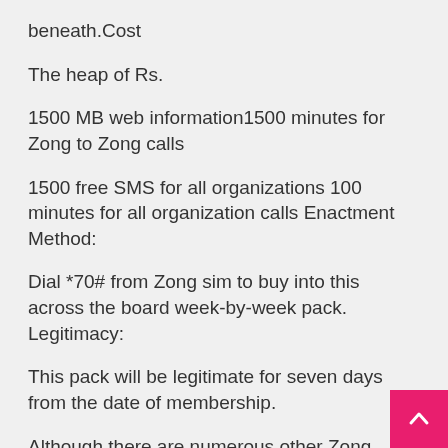beneath.Cost
The heap of Rs.
1500 MB web information1500 minutes for Zong to Zong calls
1500 free SMS for all organizations 100 minutes for all organization calls Enactment Method:
Dial *70# from Zong sim to buy into this across the board week-by-week pack. Legitimacy:
This pack will be legitimate for seven days from the date of membership.
Although there are numerous other Zong week-by-week web bundles, the over two week after week bundles are becoming increasingly more well-known step by step. These bundles offer higher volumes in an entirely sensible financial plan when contrasted